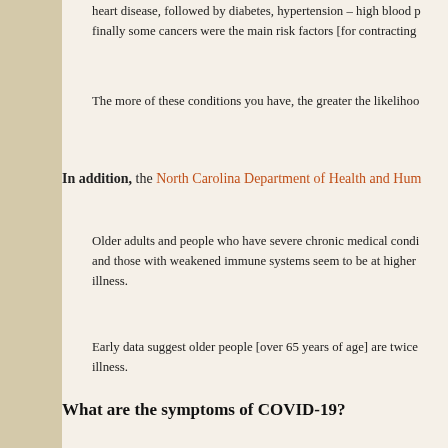heart disease, followed by diabetes, hypertension – high blood p finally some cancers were the main risk factors [for contracting
The more of these conditions you have, the greater the likelihoo
In addition, the North Carolina Department of Health and Hum
Older adults and people who have severe chronic medical condi and those with weakened immune systems seem to be at higher illness.
Early data suggest older people [over 65 years of age] are twice illness.
What are the symptoms of COVID-19?